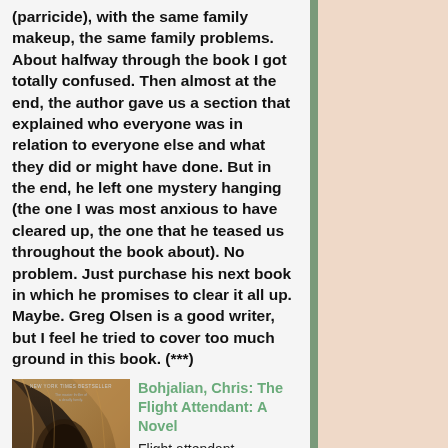(parricide), with the same family makeup, the same family problems. About halfway through the book I got totally confused. Then almost at the end, the author gave us a section that explained who everyone was in relation to everyone else and what they did or might have done. But in the end, he left one mystery hanging (the one I was most anxious to have cleared up, the one that he teased us throughout the book about). No problem. Just purchase his next book in which he promises to clear it all up. Maybe. Greg Olsen is a good writer, but I feel he tried to cover too much ground in this book. (***)
[Figure (photo): Book cover of 'The Flight Attendant: A Novel' by Chris Bohjalian. Dark cover with a close-up of a woman's face and blonde hair. Text reads 'THE FLIGHT ATTENDANT A NOVEL CHRIS BOHJALIAN' with a red line detail.]
Bohjalian, Chris: The Flight Attendant: A Novel Flight attendant, alcoholic, compulsive liar, and bed hopper Cassie Bowden has finally picked the wrong